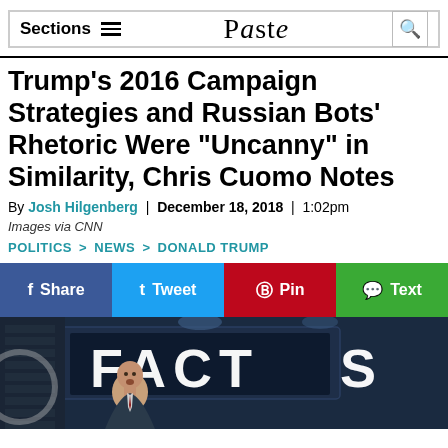Sections | Paste | [search]
Trump's 2016 Campaign Strategies and Russian Bots' Rhetoric Were "Uncanny" in Similarity, Chris Cuomo Notes
By Josh Hilgenberg | December 18, 2018 | 1:02pm
Images via CNN
POLITICS > NEWS > DONALD TRUMP
Share | Tweet | Pin | Text
[Figure (photo): CNN studio screenshot showing anchor with FACTS text on screen behind]